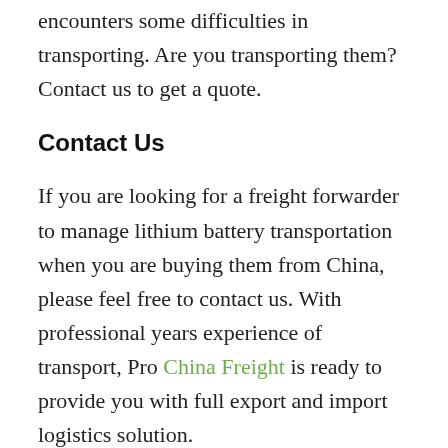encounters some difficulties in transporting. Are you transporting them? Contact us to get a quote.
Contact Us
If you are looking for a freight forwarder to manage lithium battery transportation when you are buying them from China, please feel free to contact us. With professional years experience of transport, Pro China Freight is ready to provide you with full export and import logistics solution.
We have accumulated rich experience on batteries export and export, and have build a giant worldwide agent covering more than 200 countries and regions, we can provide one-stop logistics solutions, not